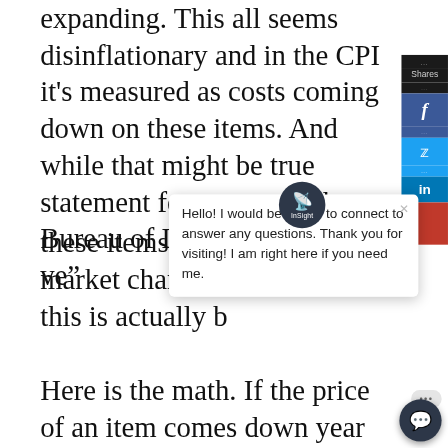expanding. This all seems disinflationary and in the CPI it's measured as costs coming down on these items. And while that might be true statement for someone, the Bureau of Labor Statistics ["says"] these items yea[r] market changes this is actually b
[Figure (screenshot): Social media share bar on the right side with Shares label, Facebook (f), Twitter (bird icon), LinkedIn (in) buttons stacked vertically]
[Figure (screenshot): Chat popup with InSight logo circle, close X button, and message: Hello! I would be happy to connect to answer any questions. Thank you for visiting! I am right here if you need me.]
Here is the math. If the price of an item comes down year over year by
[Figure (screenshot): Chat bot button at bottom right with ellipsis dots indicator bubble above it]